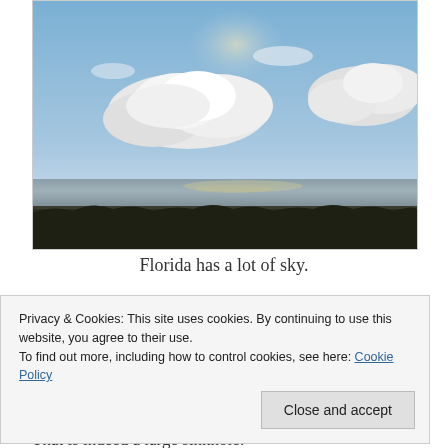[Figure (photo): Outdoor coastal/beach scene with blue sky, large white clouds, flat water horizon (sea or bay), and dark low vegetation in the foreground. Bright sun behind clouds.]
Florida has a lot of sky.
Privacy & Cookies: This site uses cookies. By continuing to use this website, you agree to their use.
To find out more, including how to control cookies, see here: Cookie Policy
Close and accept
That is indeed a large sinkhole.